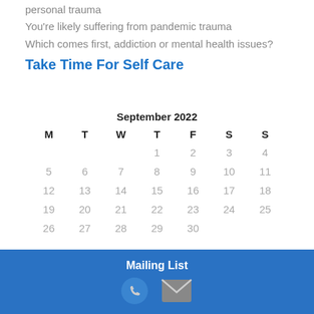personal trauma
You're likely suffering from pandemic trauma
Which comes first, addiction or mental health issues?
Take Time For Self Care
[Figure (other): September 2022 calendar showing dates 1-30 with day headers M T W T F S S]
Mailing List